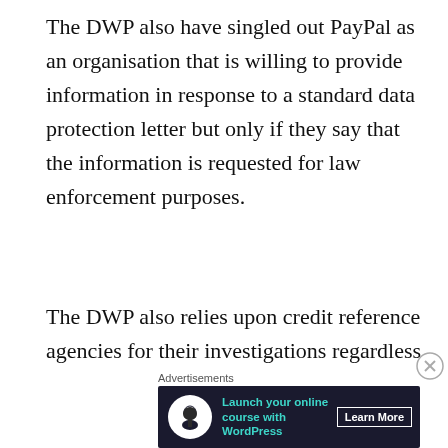The DWP also have singled out PayPal as an organisation that is willing to provide information in response to a standard data protection letter but only if they say that the information is requested for law enforcement purposes.
The DWP also relies upon credit reference agencies for their investigations regardless of the fact that people being investigated are more likely to be in debt and have a poor credit rating. Regardless of this it's yet another avenue for the DWP to exploit.
[Figure (infographic): Advertisement banner with dark background. Shows a tree/person icon in a white circle on the left. Text reads 'Launch your online course with WordPress' in teal. A 'Learn More' button in white on the right.]